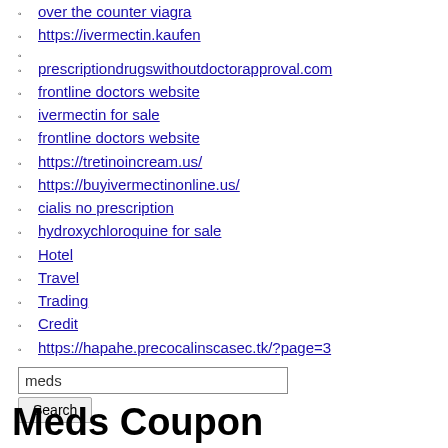over the counter viagra
https://ivermectin.kaufen
prescriptiondrugswithoutdoctorapproval.com
frontline doctors website
ivermectin for sale
frontline doctors website
https://tretinoincream.us/
https://buyivermectinonline.us/
cialis no prescription
hydroxychloroquine for sale
Hotel
Travel
Trading
Credit
https://hapahe.precocalinscasec.tk/?page=3
meds [search input]
Meds Coupon